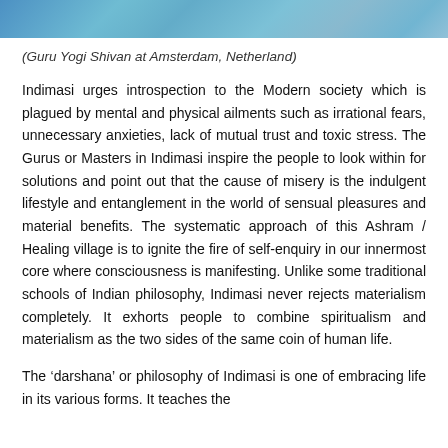[Figure (photo): Top portion of a photo showing colorful scene, likely of Guru Yogi Shivan at Amsterdam, Netherland]
(Guru Yogi Shivan at Amsterdam, Netherland)
Indimasi urges introspection to the Modern society which is plagued by mental and physical ailments such as irrational fears, unnecessary anxieties, lack of mutual trust and toxic stress. The Gurus or Masters in Indimasi inspire the people to look within for solutions and point out that the cause of misery is the indulgent lifestyle and entanglement in the world of sensual pleasures and material benefits. The systematic approach of this Ashram / Healing village is to ignite the fire of self-enquiry in our innermost core where consciousness is manifesting. Unlike some traditional schools of Indian philosophy, Indimasi never rejects materialism completely. It exhorts people to combine spiritualism and materialism as the two sides of the same coin of human life.
The ‘darshana’ or philosophy of Indimasi is one of embracing life in its various forms. It teaches the